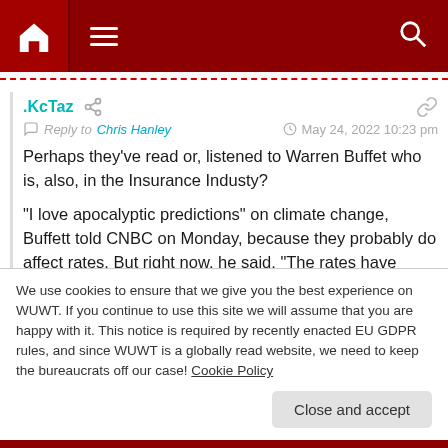Navigation bar with home, menu, and search icons
.KcTaz
Reply to Chris Hanley   May 24, 2022 10:23 pm
Perhaps they've read or, listened to Warren Buffet who is, also, in the Insurance Industy?

"I love apocalyptic predictions" on climate change, Buffett told CNBC on Monday, because they probably do affect rates. But right now, he said, "The rates have come down very significantly, so we're not writing much, if anything, in the U.S."
We use cookies to ensure that we give you the best experience on WUWT. If you continue to use this site we will assume that you are happy with it. This notice is required by recently enacted EU GDPR rules, and since WUWT is a globally read website, we need to keep the bureaucrats off our case! Cookie Policy

Close and accept